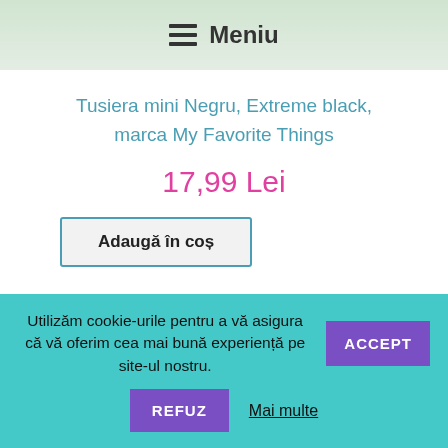Meniu
Tusiera mini Negru, Extreme black, marca My Favorite Things
17,99 Lei
Adaugă în coș
Cauta
Utilizăm cookie-urile pentru a vă asigura că vă oferim cea mai bună experiență pe site-ul nostru.
ACCEPT
REFUZ
Mai multe